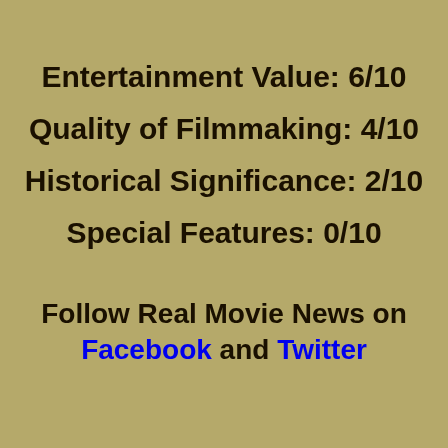Entertainment Value: 6/10
Quality of Filmmaking: 4/10
Historical Significance: 2/10
Special Features: 0/10
Follow Real Movie News on Facebook and Twitter